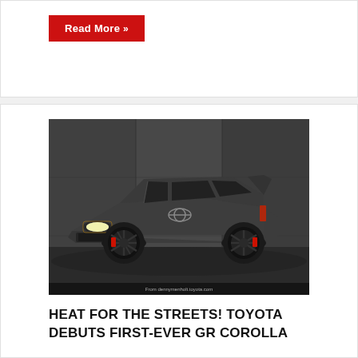Read More »
[Figure (photo): A dark matte grey Toyota GR Corolla hatchback photographed in a dramatic studio setting against a concrete wall background, with headlights on and red brake calipers visible]
HEAT FOR THE STREETS! TOYOTA DEBUTS FIRST-EVER GR COROLLA
By Denny Menholt Toyota   June 2, 2022   Corolla